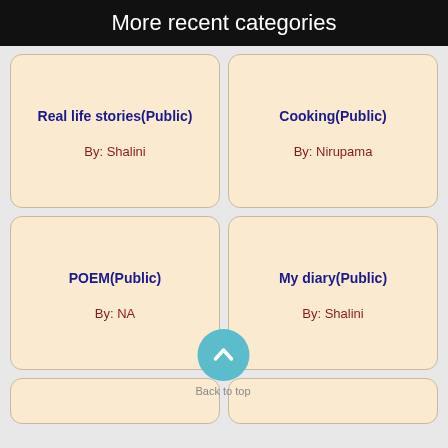More recent categories
Real life stories(Public)
By: Shalini
Cooking(Public)
By: Nirupama
POEM(Public)
By: NA
My diary(Public)
By: Shalini
[Figure (infographic): Back to top button — teal circle with upward chevron arrow, labeled 'Back to top']